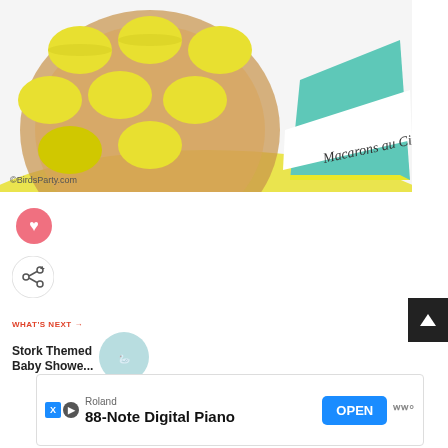[Figure (photo): Yellow macarons on a wooden board with a lemon-themed tent card reading 'Macarons au Citron' in cursive, on a yellow polka dot tablecloth. Watermark: ©BirdsParty.com]
[Figure (illustration): Pink circular heart/favorite button icon]
[Figure (illustration): White circular share button icon with share symbol and plus sign]
WHAT'S NEXT →
Stork Themed Baby Showe...
[Figure (photo): Small circular thumbnail of stork themed baby shower]
Roland
88-Note Digital Piano
OPEN